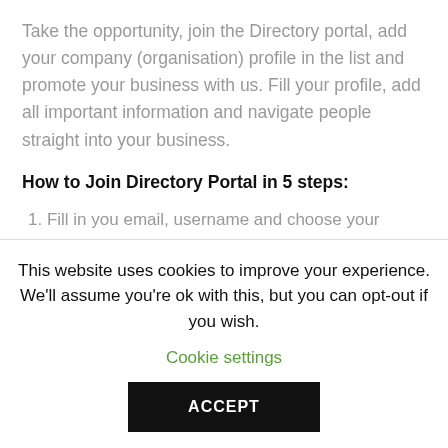Take the opportunity, join the Directory portal, add your company (organisation) profile in the list and promote your business with us. Fill your profile, add all important information and navigate people straight into your business.
How to Join Directory Portal in 5 steps:
1. Fill in you email, username and choose your package,
2. Click on Sign Up (Buy with Paypal),
This website uses cookies to improve your experience. We'll assume you're ok with this, but you can opt-out if you wish. Cookie settings
ACCEPT